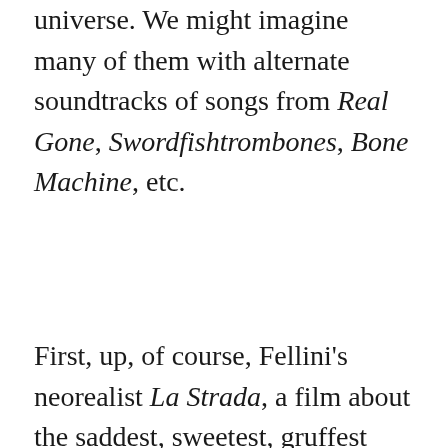universe. We might imagine many of them with alternate soundtracks of songs from Real Gone, Swordfishtrombones, Bone Machine, etc.
First, up, of course, Fellini's neorealist La Strada, a film about the saddest, sweetest, gruffest traveling circus act ever. Waits also confesses a passion for all of the